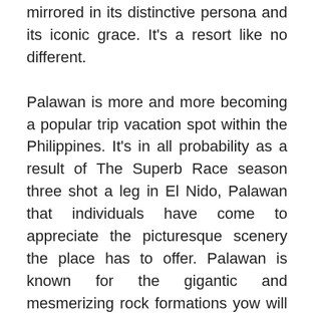mirrored in its distinctive persona and its iconic grace. It's a resort like no different.
Palawan is more and more becoming a popular trip vacation spot within the Philippines. It's in all probability as a result of The Superb Race season three shot a leg in El Nido, Palawan that individuals have come to appreciate the picturesque scenery the place has to offer. Palawan is known for the gigantic and mesmerizing rock formations yow will discover there.
Set in it is own orange groves within the